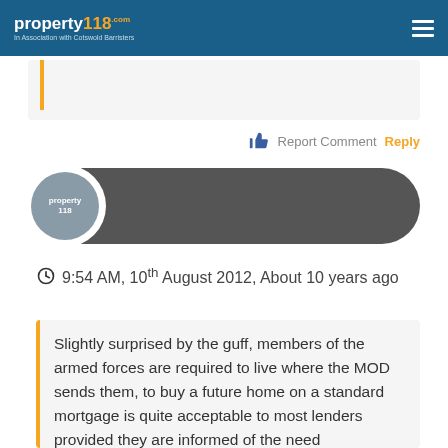property118.com - In Association with Cotswold Barristers
Report Comment  Reply
[Figure (other): User comment avatar/profile pill with circular avatar showing property118 logo on dark grey rounded pill background]
9:54 AM, 10th August 2012, About 10 years ago
Slightly surprised by the guff, members of the armed forces are required to live where the MOD sends them, to buy a future home on a standard mortgage is quite acceptable to most lenders provided they are informed of the need